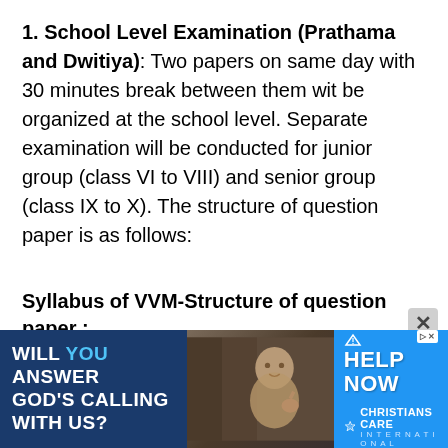1. School Level Examination (Prathama and Dwitiya): Two papers on same day with 30 minutes break between them wit be organized at the school level. Separate examination will be conducted for junior group (class VI to VIII) and senior group (class IX to X). The structure of question paper is as follows:
Syllabus of VVM-Structure of question paper :
[Figure (infographic): Advertisement banner: 'WILL YOU ANSWER GOD'S CALLING WITH US?' with a photo of a baby and 'HELP NOW - CHRISTIANS CARE INTERNATIONAL' branding on blue background]